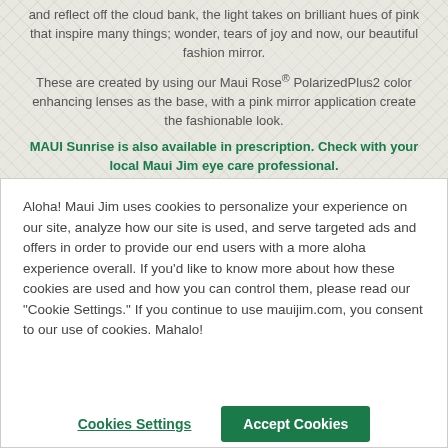and reflect off the cloud bank, the light takes on brilliant hues of pink that inspire many things; wonder, tears of joy and now, our beautiful fashion mirror.
These are created by using our Maui Rose® PolarizedPlus2 color enhancing lenses as the base, with a pink mirror application create the fashionable look.
MAUI Sunrise is also available in prescription. Check with your local Maui Jim eye care professional.
Aloha! Maui Jim uses cookies to personalize your experience on our site, analyze how our site is used, and serve targeted ads and offers in order to provide our end users with a more aloha experience overall. If you'd like to know more about how these cookies are used and how you can control them, please read our "Cookie Settings." If you continue to use mauijim.com, you consent to our use of cookies. Mahalo!
Cookies Settings
Accept Cookies